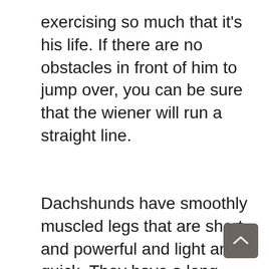exercising so much that it's his life. If there are no obstacles in front of him to jump over, you can be sure that the wiener will run a straight line.
Dachshunds have smoothly muscled legs that are short and powerful and light and quick. They have a long torso that gives them more flexibility when turning than other dogs. A wiener's body is designed for long-distance running, which is why they can run very fast. They can run in a fast gallop for long distances, and they can also run in a short quick